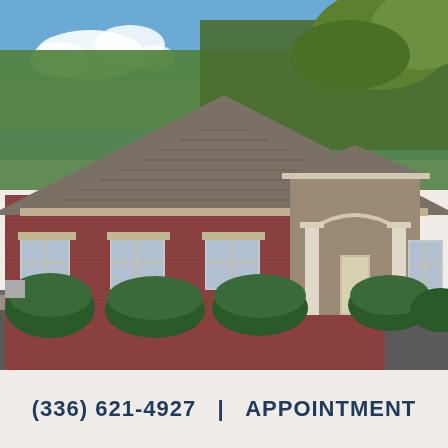[Figure (photo): Exterior photo of a brick medical office building with a hip roof, white-columned entrance portico, multiple windows, and rounded boxwood shrubs in front. Blue sky with white clouds and green trees in background. Parking lot visible in foreground.]
(336) 621-4927  |  APPOINTMENT